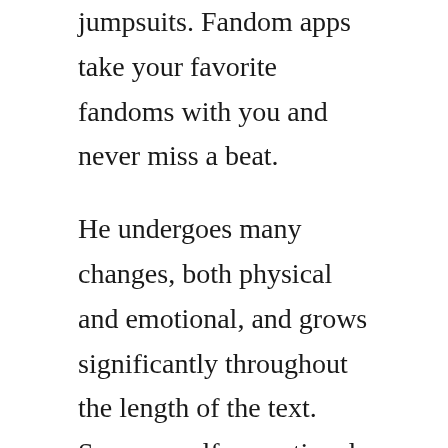jumpsuits. Fandom apps take your favorite fandoms with you and never miss a beat.
He undergoes many changes, both physical and emotional, and grows significantly throughout the length of the text. Spam or selfpromotional the list is spam or selfpromotional. Have you ever wondered which disney characters names begin with the letter e. Ernst, a fictional mutant created by grant morrison and frank quitely, first appeared in new xmen vol. Erik magnus also known as magneto amalgam comics erik storm. The hunger games by suzanne collins